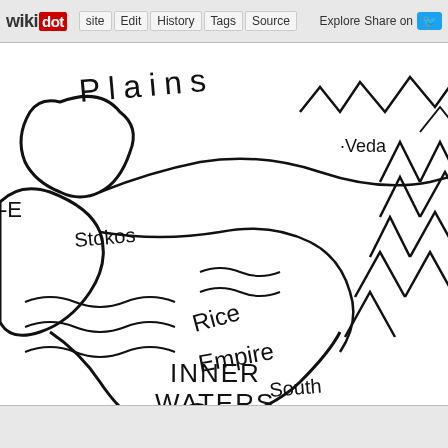wikidot | site | Edit | History | Tags | Source | Explore | Share on Twitter
[Figure (map): Hand-drawn fantasy map showing regions including Plains, Veda, Stokos, Rice Empire, South, Inner Waters, Asbun Mountains, Provincial Endergeneers, Drangsturm, and Deep]
Maruka. That meant that it was well removed from the waters of Ezakinfin, which was where the skyship was scheduled to actually touch